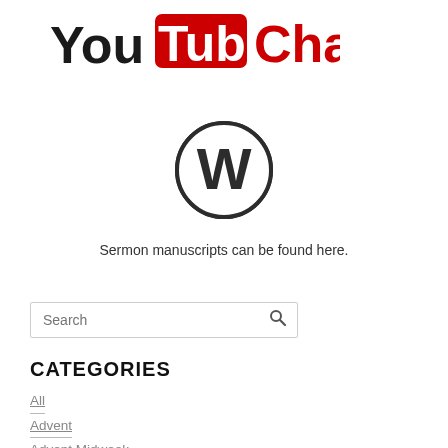[Figure (logo): YouTube Channel logo — 'You' in black bold, 'Tube' in white on red rounded rectangle, 'Channel' in red bold text]
[Figure (logo): WordPress logo — circular badge with stylized W lettermark in dark charcoal/black]
Sermon manuscripts can be found here.
Search
CATEGORIES
All
Advent
Advent Midweek
All Saints
Christmas Season